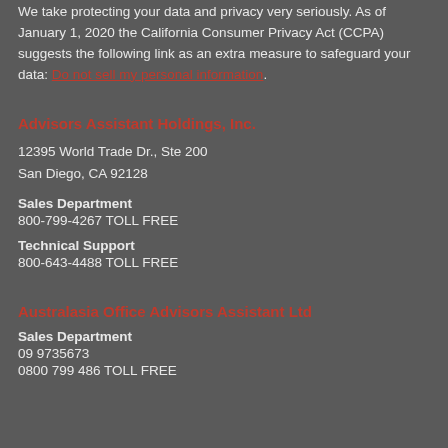We take protecting your data and privacy very seriously. As of January 1, 2020 the California Consumer Privacy Act (CCPA) suggests the following link as an extra measure to safeguard your data: Do not sell my personal information.
Advisors Assistant Holdings, Inc.
12395 World Trade Dr., Ste 200
San Diego, CA 92128
Sales Department
800-799-4267 TOLL FREE
Technical Support
800-643-4488 TOLL FREE
Australasia Office Advisors Assistant Ltd
Sales Department
09 9735673
0800 799 486 TOLL FREE